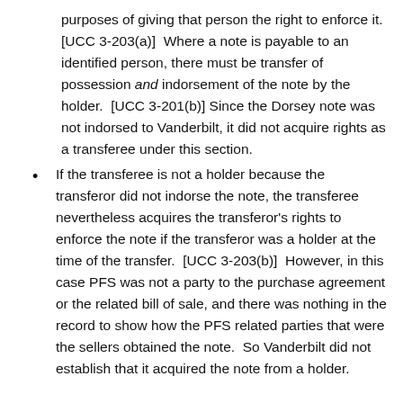purposes of giving that person the right to enforce it. [UCC 3-203(a)] Where a note is payable to an identified person, there must be transfer of possession and indorsement of the note by the holder. [UCC 3-201(b)] Since the Dorsey note was not indorsed to Vanderbilt, it did not acquire rights as a transferee under this section.
If the transferee is not a holder because the transferor did not indorse the note, the transferee nevertheless acquires the transferor’s rights to enforce the note if the transferor was a holder at the time of the transfer. [UCC 3-203(b)] However, in this case PFS was not a party to the purchase agreement or the related bill of sale, and there was nothing in the record to show how the PFS related parties that were the sellers obtained the note. So Vanderbilt did not establish that it acquired the note from a holder.